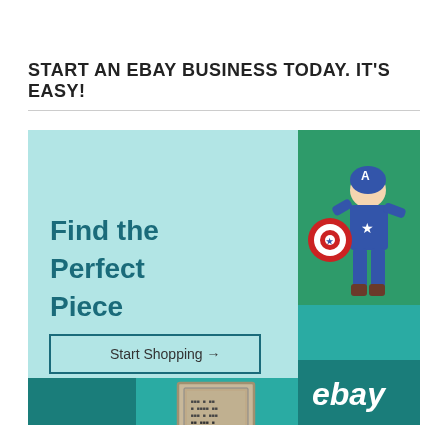START AN EBAY BUSINESS TODAY. IT'S EASY!
[Figure (illustration): eBay advertisement banner with light teal background on left showing 'Find the Perfect Piece' text and 'Start Shopping →' button, green panel top-right with Captain America action figure, teal panels bottom-right with eBay logo, and vintage stamp image at bottom center.]